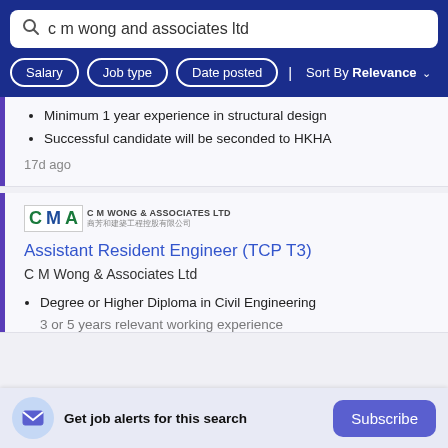c m wong and associates ltd
Salary
Job type
Date posted
Sort By Relevance
Minimum 1 year experience in structural design
Successful candidate will be seconded to HKHA
17d ago
[Figure (logo): CMA - C M Wong & Associates Ltd logo with Chinese characters]
Assistant Resident Engineer (TCP T3)
C M Wong & Associates Ltd
Degree or Higher Diploma in Civil Engineering
3 or 5 years relevant working experience
Get job alerts for this search
Subscribe